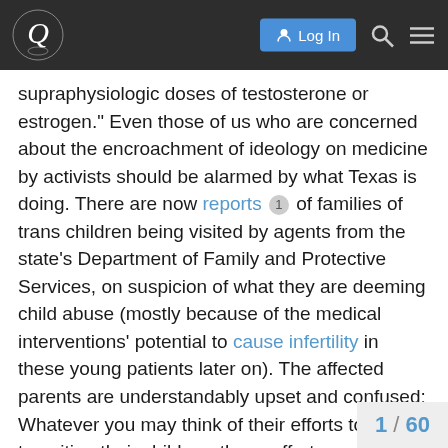Q [logo] | Log In | [search] [menu]
supraphysiologic doses of testosterone or estrogen." Even those of us who are concerned about the encroachment of ideology on medicine by activists should be alarmed by what Texas is doing. There are now reports 1 of families of trans children being visited by agents from the state's Department of Family and Protective Services, on suspicion of what they are deeming child abuse (mostly because of the medical interventions' potential to cause infertility in these young patients later on). The affected parents are understandably upset and confused: Whatever you may think of their efforts to help transition their children, those efforts were consistent with the advice given by such medical groups as the American Academy of Pediatrics, whose relentless focus on gender “affirmation” has led to the use of puberty blockers, cross-sex hormones and sometimes surgeries for patients as young as 13.

But to my knowledge, no prominent mainstream media outlets have emphasized that this kind of r from both sides: In some jurisdictions, chil